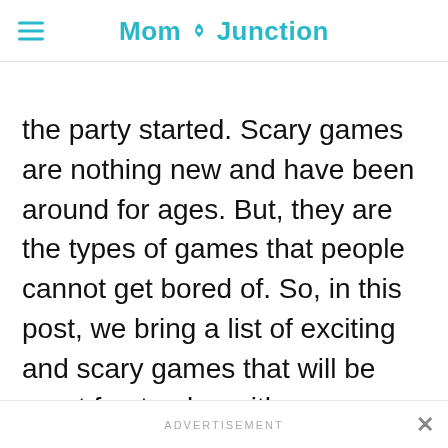MomJunction
the party started. Scary games are nothing new and have been around for ages. But, they are the types of games that people cannot get bored of. So, in this post, we bring a list of exciting and scary games that will be great fun to play with your friends.
ADVERTISEMENT